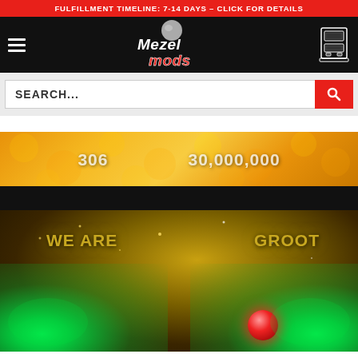FULFILLMENT TIMELINE: 7-14 DAYS – CLICK FOR DETAILS
[Figure (logo): Mezel Mods logo with pinball and stylized text on black navigation bar with hamburger menu and arcade machine icon]
SEARCH...
[Figure (photo): Guardians of the Galaxy pinball machine playfield showing score display with '306' and '30,000,000' on orange hex background, green illuminated plastics with 'WE ARE' and 'GROOT' text in gold, green glowing flippers, and a red dome light]